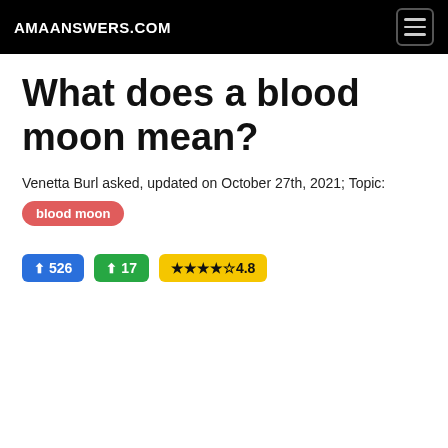AMAANSWERS.COM
What does a blood moon mean?
Venetta Burl asked, updated on October 27th, 2021; Topic:
blood moon
↑ 526   ↑ 17   ★★★★☆4.8